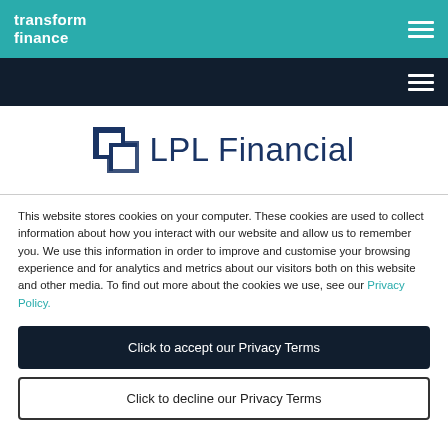transform finance
[Figure (logo): LPL Financial logo with stylized square-bracket icon and navy blue text]
This website stores cookies on your computer. These cookies are used to collect information about how you interact with our website and allow us to remember you. We use this information in order to improve and customise your browsing experience and for analytics and metrics about our visitors both on this website and other media. To find out more about the cookies we use, see our Privacy Policy.
Click to accept our Privacy Terms
Click to decline our Privacy Terms